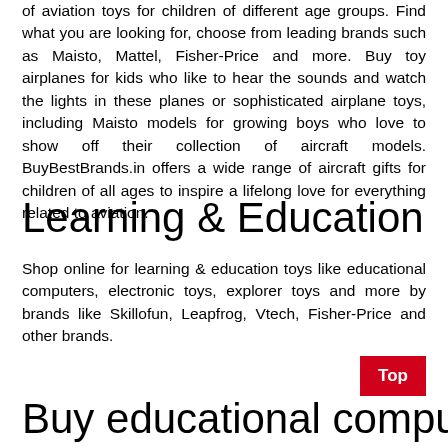of aviation toys for children of different age groups. Find what you are looking for, choose from leading brands such as Maisto, Mattel, Fisher-Price and more. Buy toy airplanes for kids who like to hear the sounds and watch the lights in these planes or sophisticated airplane toys, including Maisto models for growing boys who love to show off their collection of aircraft models. BuyBestBrands.in offers a wide range of aircraft gifts for children of all ages to inspire a lifelong love for everything related to aviation.
Learning & Education
Shop online for learning & education toys like educational computers, electronic toys, explorer toys and more by brands like Skillofun, Leapfrog, Vtech, Fisher-Price and other brands.
Buy educational computers at